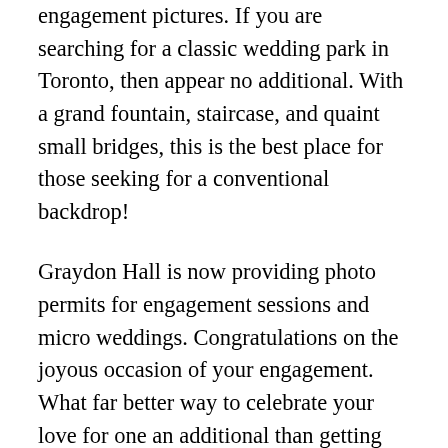engagement pictures. If you are searching for a classic wedding park in Toronto, then appear no additional. With a grand fountain, staircase, and quaint small bridges, this is the best place for those seeking for a conventional backdrop!
Graydon Hall is now providing photo permits for engagement sessions and micro weddings. Congratulations on the joyous occasion of your engagement. What far better way to celebrate your love for one an additional than getting engagement photos to commemorate this milestone? From the The One particular Bridal, we dedicate our qualified experience to generate romantic, personable engagement photographs for our couples. Our group will guide you via just about every step of the way